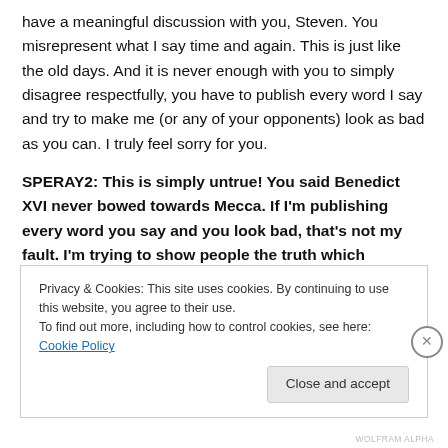have a meaningful discussion with you, Steven. You misrepresent what I say time and again. This is just like the old days. And it is never enough with you to simply disagree respectfully, you have to publish every word I say and try to make me (or any of your opponents) look as bad as you can. I truly feel sorry for you.
SPERAY2: This is simply untrue! You said Benedict XVI never bowed towards Mecca. If I'm publishing every word you say and you look bad, that's not my fault. I'm trying to show people the truth which
Privacy & Cookies: This site uses cookies. By continuing to use this website, you agree to their use.
To find out more, including how to control cookies, see here: Cookie Policy
Close and accept